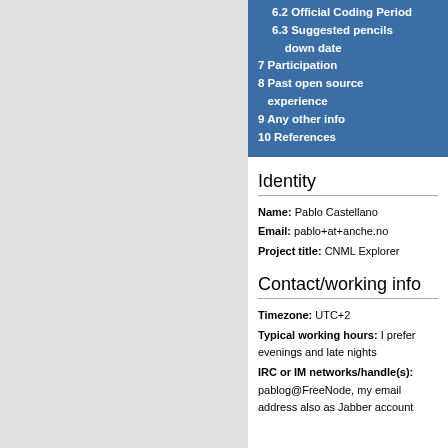6.2 Official Coding Period
6.3 Suggested pencils down date
7 Participation
8 Past open source experience
9 Any other info
10 References
Identity
Name: Pablo Castellano
Email: pablo+at+anche.no
Project title: CNML Explorer
Contact/working info
Timezone: UTC+2
Typical working hours: I prefer evenings and late nights
IRC or IM networks/handle(s): pablog@FreeNode, my email address also as Jabber account